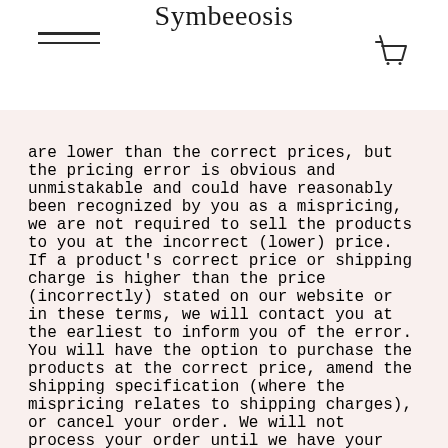Symbeeosis
are lower than the correct prices, but the pricing error is obvious and unmistakable and could have reasonably been recognized by you as a mispricing, we are not required to sell the products to you at the incorrect (lower) price. If a product's correct price or shipping charge is higher than the price (incorrectly) stated on our website or in these terms, we will contact you at the earliest to inform you of the error. You will have the option to purchase the products at the correct price, amend the shipping specification (where the mispricing relates to shipping charges), or cancel your order. We will not process your order until we have your